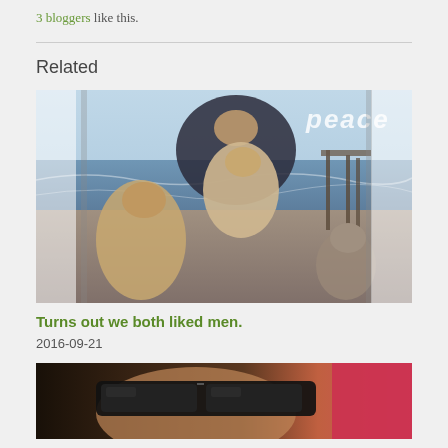3 bloggers like this.
[Figure (photo): Family photo at the beach: an adult holding a young girl, with two boys beside them. Text 'peace' visible in upper right corner.]
Turns out we both liked men.
2016-09-21
[Figure (photo): Close-up selfie of a person wearing sunglasses with a pink element visible on the right side.]